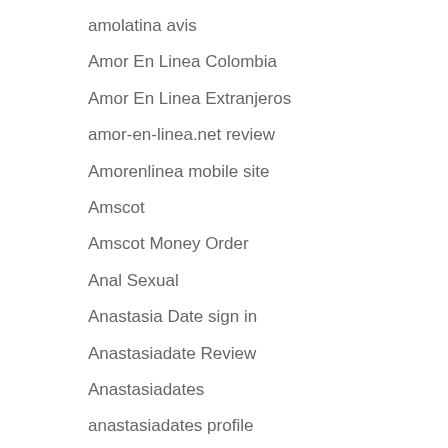amolatina avis
Amor En Linea Colombia
Amor En Linea Extranjeros
amor-en-linea.net review
Amorenlinea mobile site
Amscot
Amscot Money Order
Anal Sexual
Anastasia Date sign in
Anastasiadate Review
Anastasiadates
anastasiadates profile
anonymous
Antivirus
Antivirus Software